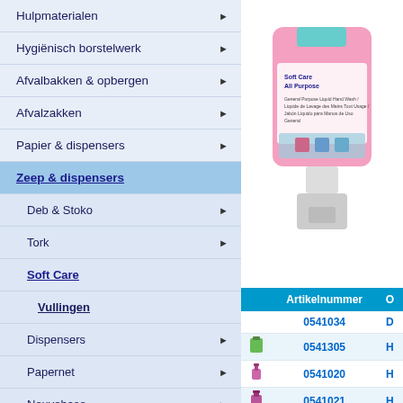Hulpmaterialen
Hygiënisch borstelwerk
Afvalbakken & opbergen
Afvalzakken
Papier & dispensers
Zeep & dispensers
Deb & Stoko
Tork
Soft Care
Vullingen
Dispensers
Papernet
Nouvebase
[Figure (photo): Pink Soft Care All Purpose soap refill bottle with white pump cap]
| Artikelnummer | O |
| --- | --- |
| 0541034 | D |
| 0541305 | H |
| 0541020 | H |
| 0541021 | H |